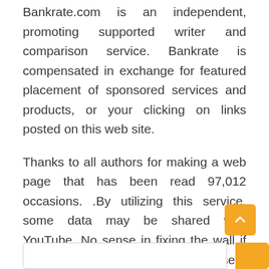Bankrate.com is an independent, promoting supported writer and comparison service. Bankrate is compensated in exchange for featured placement of sponsored services and products, or your clicking on links posted on this web site.
Thanks to all authors for making a web page that has been read 97,012 occasions. .By utilizing this service, some data may be shared with YouTube. No sense in fixing the wall if there is a gap within the roof in case it rains and ruins your wall. You might need to contemplate fixing the muse, if it wants it, ...
📅 05/10/2020